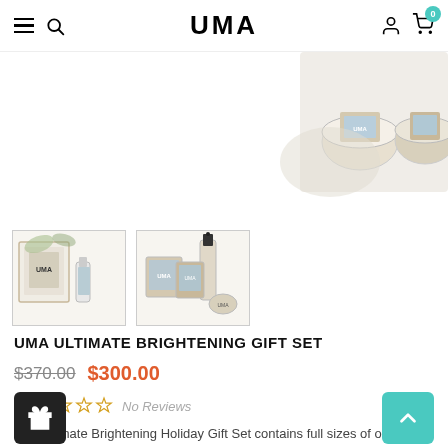UMA
[Figure (photo): Top portion of UMA brightening gift set products — glass jars and bottles shown from above on white background]
[Figure (photo): Two thumbnail images of UMA Ultimate Brightening Gift Set: left shows packaged set with UMA box and small bottles; right shows individual product bottles and jars]
UMA ULTIMATE BRIGHTENING GIFT SET
$370.00  $300.00
No Reviews
The Ultimate Brightening Holiday Gift Set contains full sizes of our bestselling brightening products! Formulated with powerful